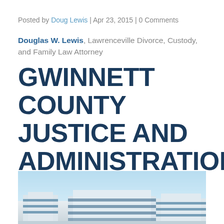Posted by Doug Lewis | Apr 23, 2015 | 0 Comments
Douglas W. Lewis, Lawrenceville Divorce, Custody, and Family Law Attorney
GWINNETT COUNTY JUSTICE AND ADMINISTRATION CENTER (GJAC)
[Figure (photo): Exterior photograph of the Gwinnett County Justice and Administration Center building, showing a modern government building with a light blue sky background.]